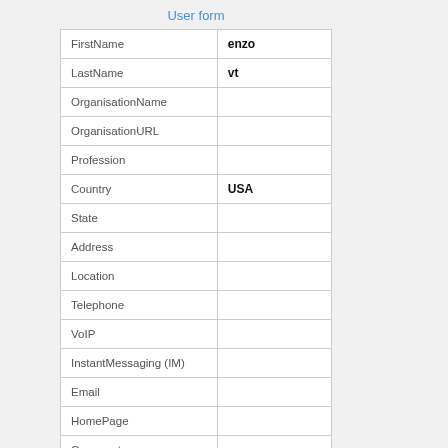User form
| Field | Value |
| --- | --- |
| FirstName | enzo |
| LastName | vt |
| OrganisationName |  |
| OrganisationURL |  |
| Profession |  |
| Country | USA |
| State |  |
| Address |  |
| Location |  |
| Telephone |  |
| VoIP |  |
| InstantMessaging (IM) |  |
| Email |  |
| HomePage |  |
| Comment |  |